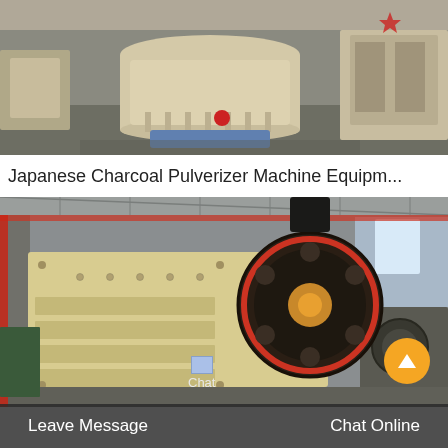[Figure (photo): Industrial pulverizer machine (yellowish-cream cylindrical machine) inside a factory/warehouse setting with grey floor and other machinery in background.]
Japanese Charcoal Pulverizer Machine Equipm...
[Figure (photo): Large jaw crusher machine (yellowish-cream colored) with a prominent flywheel, inside an industrial factory with steel roof trusses visible in background.]
Chat
Leave Message   Chat Online